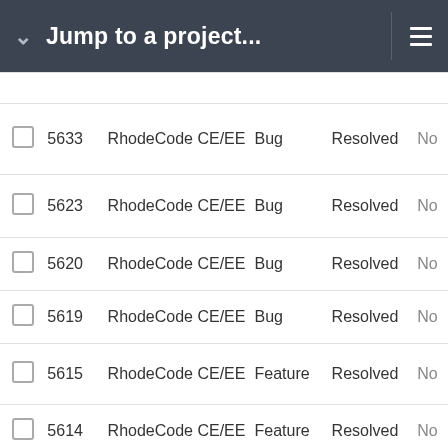Jump to a project...
|  | # | Project | Type | Status |  |
| --- | --- | --- | --- | --- | --- |
| ☐ | 5633 | RhodeCode CE/EE | Bug | Resolved | No |
| ☐ | 5623 | RhodeCode CE/EE | Bug | Resolved | No |
| ☐ | 5620 | RhodeCode CE/EE | Bug | Resolved | No |
| ☐ | 5619 | RhodeCode CE/EE | Bug | Resolved | No |
| ☐ | 5615 | RhodeCode CE/EE | Feature | Resolved | No |
| ☐ | 5614 | RhodeCode CE/EE | Feature | Resolved | No |
| ☐ | 5611 | RhodeCode CE/EE | Feature | Resolved | No |
| ☐ | 5610 | RhodeCode CE/EE | Bug | Resolved | No |
| ☐ | 5609 | RhodeCode CE/EE | Support | Resolved | No |